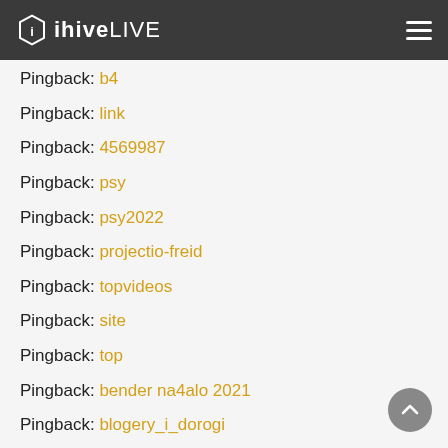ihiveLIVE
Pingback: b4
Pingback: link
Pingback: 4569987
Pingback: psy
Pingback: psy2022
Pingback: projectio-freid
Pingback: topvideos
Pingback: site
Pingback: top
Pingback: bender na4alo 2021
Pingback: blogery_i_dorogi
Pingback: blogery_i_dorogi 2 blogery_i_dorogi
Pingback: chernaya vodova
Pingback: 6619+